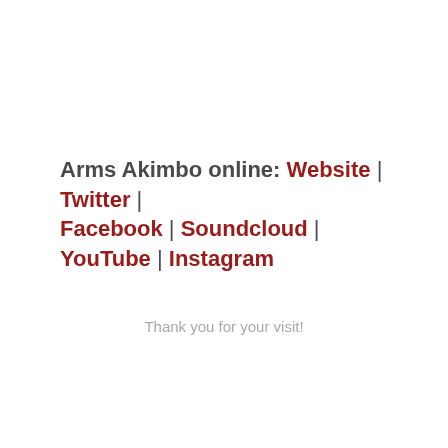Arms Akimbo online: Website | Twitter | Facebook | Soundcloud | YouTube | Instagram
Thank you for your visit!